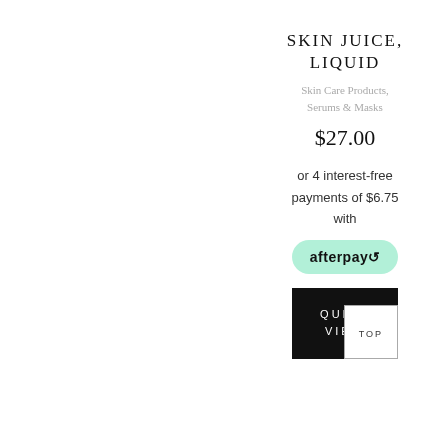SKIN JUICE, LIQUID
Skin Care Products, Serums & Masks
$27.00
or 4 interest-free payments of $6.75 with
[Figure (logo): Afterpay logo badge with mint green rounded rectangle background]
QUICK VIEW
TOP